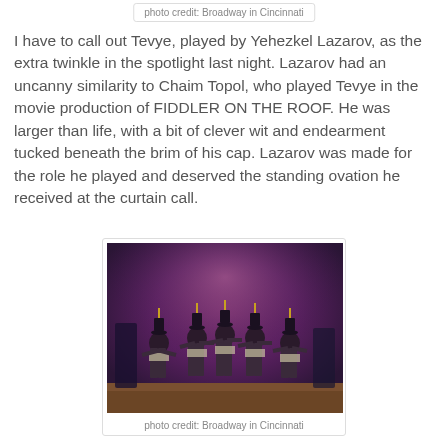photo credit: Broadway in Cincinnati
I have to call out Tevye, played by Yehezkel Lazarov, as the extra twinkle in the spotlight last night. Lazarov had an uncanny similarity to Chaim Topol, who played Tevye in the movie production of FIDDLER ON THE ROOF. He was larger than life, with a bit of clever wit and endearment tucked beneath the brim of his cap. Lazarov was made for the role he played and deserved the standing ovation he received at the curtain call.
[Figure (photo): Stage performance photo showing dancers in traditional Jewish costumes with hats performing a dance number from Fiddler on the Roof, against a purple stage backdrop]
photo credit: Broadway in Cincinnati